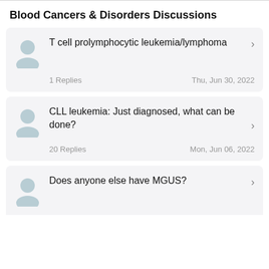Blood Cancers & Disorders Discussions
T cell prolymphocytic leukemia/lymphoma | 1 Replies | Thu, Jun 30, 2022
CLL leukemia: Just diagnosed, what can be done? | 20 Replies | Mon, Jun 06, 2022
Does anyone else have MGUS?